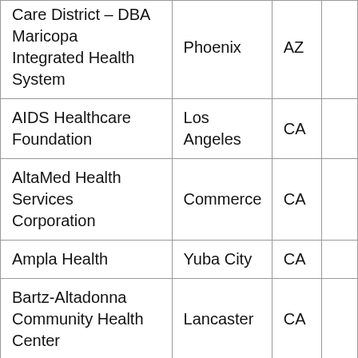| Organization | City | State |  |
| --- | --- | --- | --- |
| Care District – DBA Maricopa Integrated Health System | Phoenix | AZ |  |
| AIDS Healthcare Foundation | Los Angeles | CA |  |
| AltaMed Health Services Corporation | Commerce | CA |  |
| Ampla Health | Yuba City | CA |  |
| Bartz-Altadonna Community Health Center | Lancaster | CA |  |
| Center for AIDS |  |  |  |